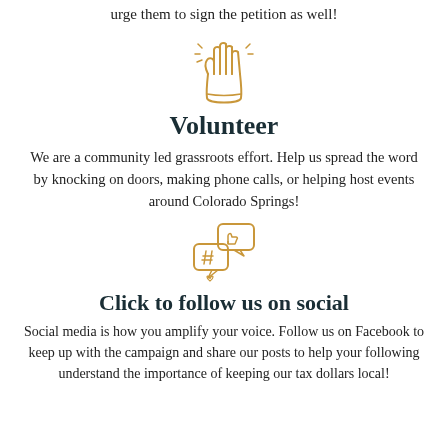urge them to sign the petition as well!
[Figure (illustration): Golden outline illustration of a raised hand]
Volunteer
We are a community led grassroots effort. Help us spread the word by knocking on doors, making phone calls, or helping host events around Colorado Springs!
[Figure (illustration): Golden outline illustration of social media chat/like bubbles with hashtag]
Click to follow us on social
Social media is how you amplify your voice. Follow us on Facebook to keep up with the campaign and share our posts to help your following understand the importance of keeping our tax dollars local!